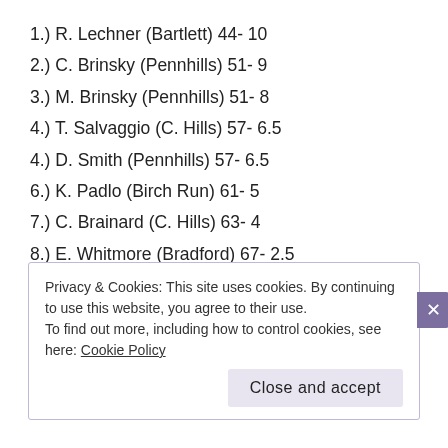1.) R. Lechner (Bartlett) 44- 10
2.) C. Brinsky (Pennhills) 51- 9
3.) M. Brinsky (Pennhills) 51- 8
4.) T. Salvaggio (C. Hills) 57- 6.5
4.) D. Smith (Pennhills) 57- 6.5
6.) K. Padlo (Birch Run) 61- 5
7.) C. Brainard (C. Hills) 63- 4
8.) E. Whitmore (Bradford) 67- 2.5
8.) K. Scanlon (Bolivar) 67- 2.5
10.)    D. Wiedmann (Unatt)    68 – 1
Privacy & Cookies: This site uses cookies. By continuing to use this website, you agree to their use.
To find out more, including how to control cookies, see here: Cookie Policy
Close and accept